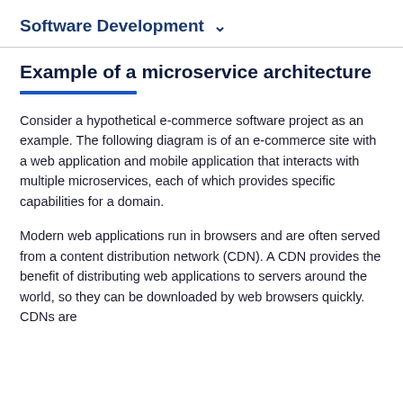Software Development
Example of a microservice architecture
Consider a hypothetical e-commerce software project as an example. The following diagram is of an e-commerce site with a web application and mobile application that interacts with multiple microservices, each of which provides specific capabilities for a domain.
Modern web applications run in browsers and are often served from a content distribution network (CDN). A CDN provides the benefit of distributing web applications to servers around the world, so they can be downloaded by web browsers quickly. CDNs are